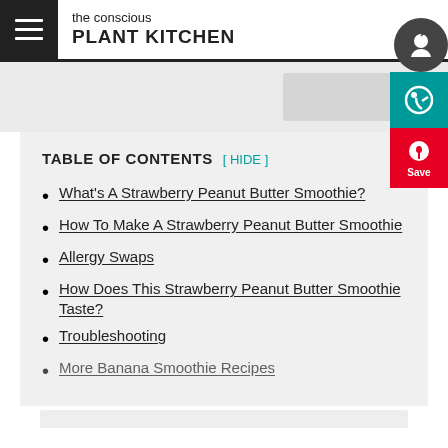the conscious PLANT KITCHEN
TABLE OF CONTENTS [ HIDE ]
What's A Strawberry Peanut Butter Smoothie?
How To Make A Strawberry Peanut Butter Smoothie
Allergy Swaps
How Does This Strawberry Peanut Butter Smoothie Taste?
Troubleshooting
More Banana Smoothie Recipes